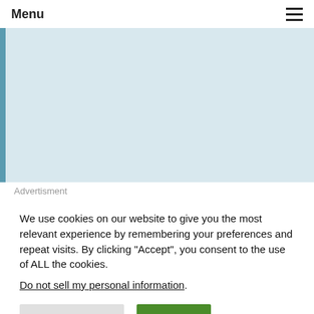Menu
[Figure (other): Advertisement placeholder area with blue-teal left border and light blue-grey background]
Advertisment
We use cookies on our website to give you the most relevant experience by remembering your preferences and repeat visits. By clicking “Accept”, you consent to the use of ALL the cookies.
Do not sell my personal information.